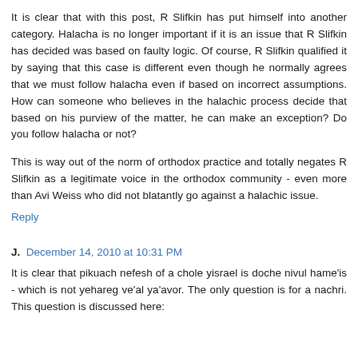It is clear that with this post, R Slifkin has put himself into another category. Halacha is no longer important if it is an issue that R Slifkin has decided was based on faulty logic. Of course, R Slifkin qualified it by saying that this case is different even though he normally agrees that we must follow halacha even if based on incorrect assumptions. How can someone who believes in the halachic process decide that based on his purview of the matter, he can make an exception? Do you follow halacha or not?
This is way out of the norm of orthodox practice and totally negates R Slifkin as a legitimate voice in the orthodox community - even more than Avi Weiss who did not blatantly go against a halachic issue.
Reply
J.  December 14, 2010 at 10:31 PM
It is clear that pikuach nefesh of a chole yisrael is doche nivul hame'is - which is not yehareg ve'al ya'avor. The only question is for a nachri. This question is discussed here: